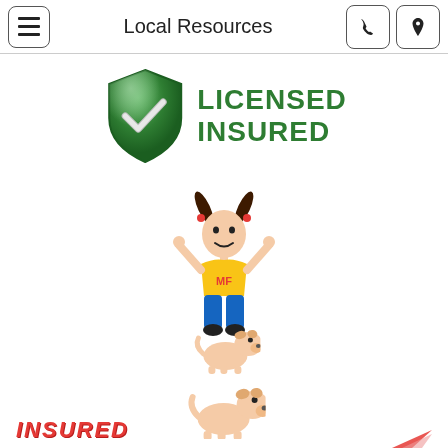Local Resources
[Figure (illustration): Green shield badge with white checkmark and text LICENSED INSURED in dark green bold letters]
[Figure (illustration): Cartoon girl character with pigtails wearing yellow shirt with MF letters and blue pants, arms raised]
[Figure (illustration): Small cartoon chihuahua dog illustration facing right]
[Figure (illustration): Small cartoon chihuahua dog illustration facing right, slightly larger]
[Figure (illustration): Partial view of red/yellow INSURED text logo at bottom and partial red arrow/swoosh graphic]